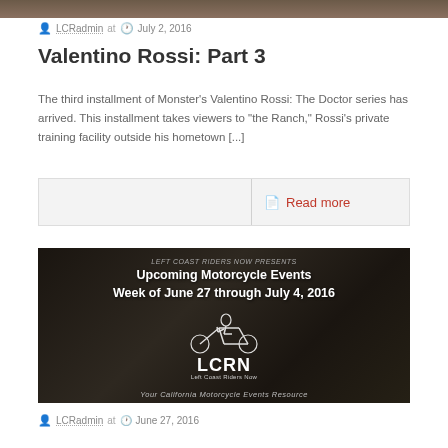[Figure (photo): Dark motorcycle-themed banner image at top of page]
LCRadmin at  July 2, 2016
Valentino Rossi: Part 3
The third installment of Monster's Valentino Rossi: The Doctor series has arrived. This installment takes viewers to "the Ranch," Rossi's private training facility outside his hometown [...]
Read more
[Figure (photo): LCRN Left Coast Riders Now - Upcoming Motorcycle Events Week of June 27 through July 4, 2016 - dark background with motorcycle imagery and LCRN logo with rider silhouette]
LCRadmin at  June 27, 2016